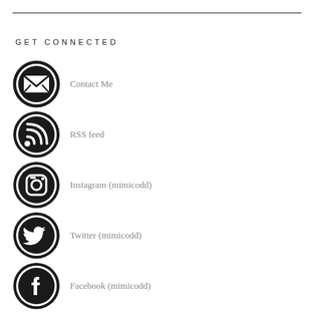GET CONNECTED
Contact Me
RSS feed
Instagram (mimicodd)
Twitter (mimicodd)
Facebook (mimicodd)